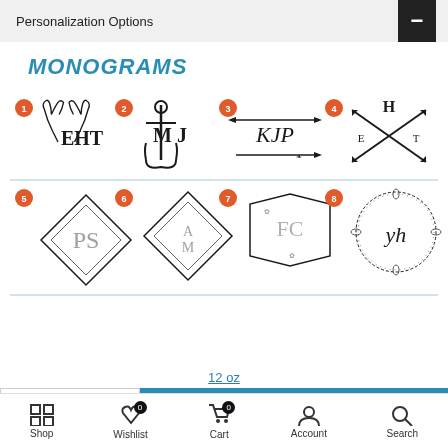Personalization Options
MONOGRAMS
[Figure (illustration): Eight numbered monogram style options arranged in two rows of four. Row 1: (1) antler design with EHT, (2) anchor design with MJ, (3) arrow design with KJP, (4) crossed arrows with H E T. Row 2: (5) diamond frame with PS, (6) diamond frame with AM, (7) hexagon frame with FC, (8) wreath design with yh script.]
12 oz
ADD TO CART
Shop  Wishlist  Cart  Account  Search